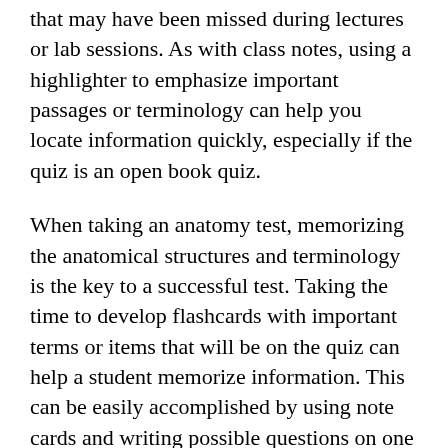that may have been missed during lectures or lab sessions. As with class notes, using a highlighter to emphasize important passages or terminology can help you locate information quickly, especially if the quiz is an open book quiz.
When taking an anatomy test, memorizing the anatomical structures and terminology is the key to a successful test. Taking the time to develop flashcards with important terms or items that will be on the quiz can help a student memorize information. This can be easily accomplished by using note cards and writing possible questions on one side and answers on the other.
Dissections are often a routine part of anatomy classes. Often done during lab sessions, dissections can allow a student to visualize structures. Paying attention during dissections can greatly assist a student in tests related to the identification and labeling of various veins, arteries,